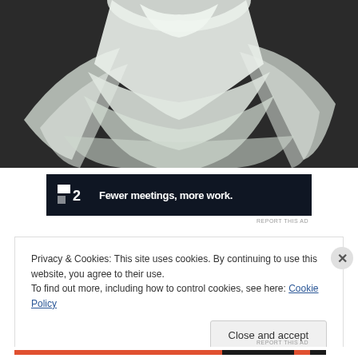[Figure (photo): Black and white photograph showing white layered tulle or chiffon fabric/dress, possibly a ballet tutu or bridal gown, against a dark background.]
[Figure (screenshot): Dark navy advertisement banner for P2 (Basecamp product) with white bold text: 'Fewer meetings, more work.']
REPORT THIS AD
Privacy & Cookies: This site uses cookies. By continuing to use this website, you agree to their use.
To find out more, including how to control cookies, see here: Cookie Policy
Close and accept
REPORT THIS AD